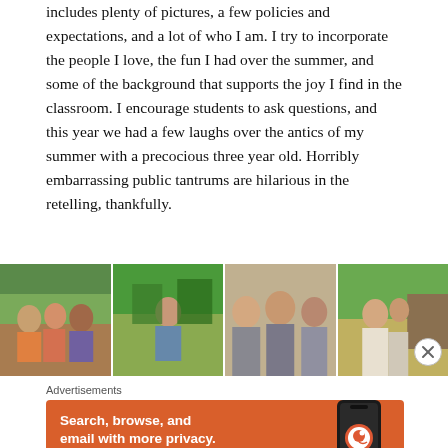includes plenty of pictures, a few policies and expectations, and a lot of who I am. I try to incorporate the people I love, the fun I had over the summer, and some of the background that supports the joy I find in the classroom. I encourage students to ask questions, and this year we had a few laughs over the antics of my summer with a precocious three year old. Horribly embarrassing public tantrums are hilarious in the retelling, thankfully.
[Figure (photo): Four side-by-side photos showing people outdoors: a group of three people, a person outdoors in a park, two or three women smiling together, and a woman with a child outdoors near a wooden structure.]
Advertisements
[Figure (infographic): DuckDuckGo advertisement banner with orange background. Text reads: 'Search, browse, and email with more privacy. All in One Free App'. Shows a smartphone with DuckDuckGo logo and wordmark.]